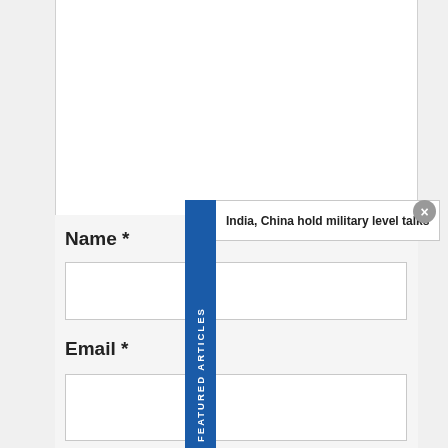[Figure (screenshot): White content box at top of page, partially visible, with gray background]
Name *
Email *
India, China hold military level talks
FEATURED ARTICLES